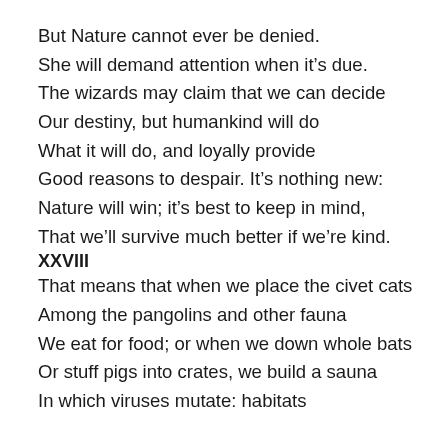But Nature cannot ever be denied.
She will demand attention when it’s due.
The wizards may claim that we can decide
Our destiny, but humankind will do
What it will do, and loyally provide
Good reasons to despair. It’s nothing new:
Nature will win; it’s best to keep in mind,
That we’ll survive much better if we’re kind.
XXVIII
That means that when we place the civet cats
Among the pangolins and other fauna
We eat for food; or when we down whole bats
Or stuff pigs into crates, we build a sauna
In which viruses mutate: habitats